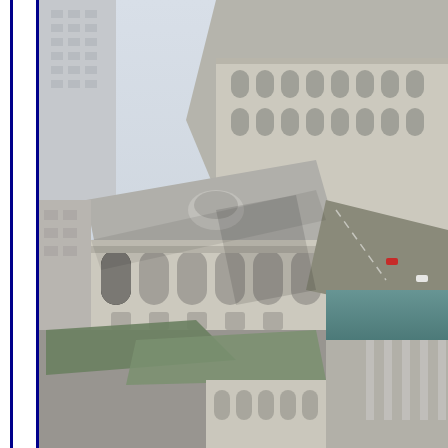[Figure (photo): Aerial photograph of a civic/government building complex in what appears to be San Francisco's Civic Center area. Shows neoclassical and beaux-arts style government buildings with arched windows and colonnades, viewed from above at an angle. Streets, trees, and neighboring modern office buildings are visible. A blue double-line border runs vertically along the left edge of the page.]